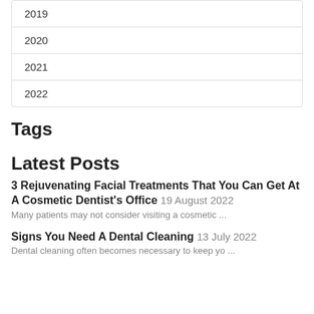| 2019 |
| 2020 |
| 2021 |
| 2022 |
Tags
Latest Posts
3 Rejuvenating Facial Treatments That You Can Get At A Cosmetic Dentist's Office 19 August 2022
Many patients may not consider visiting a cosmetic ...
Signs You Need A Dental Cleaning 13 July 2022
Dental cleaning often becomes necessary to keep yo ...